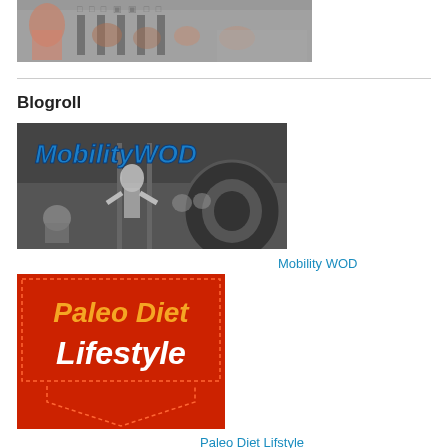[Figure (photo): Gym/fitness photo showing people exercising on rowing machines, cropped at top]
Blogroll
[Figure (photo): MobilityWOD logo/banner in blue italic text over black and white photo of athletes in a gym with a large tire]
Mobility WOD
[Figure (logo): Paleo Diet Lifestyle logo — red banner with yellow and white text reading Paleo Diet Lifestyle, with a red arrow pointing down]
Paleo Diet Lifstyle